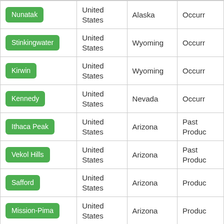| Name | Country | State/Province | Status |
| --- | --- | --- | --- |
| Nunatak | United States | Alaska | Occurr… |
| Stinkingwater | United States | Wyoming | Occurr… |
| Kirwin | United States | Wyoming | Occurr… |
| Kennedy | United States | Nevada | Occurr… |
| Ithaca Peak | United States | Arizona | Past Produc… |
| Vekol Hills | United States | Arizona | Past Produc… |
| Safford | United States | Arizona | Produc… |
| Mission-Pima | United States | Arizona | Produc… |
| Copper Flat | United States | New Mexico | Occurr… |